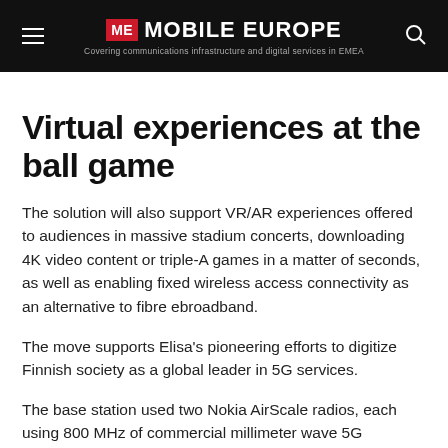ME MOBILE EUROPE — Covering communications infrastructure and digital services in EMEA
Virtual experiences at the ball game
The solution will also support VR/AR experiences offered to audiences in massive stadium concerts, downloading 4K video content or triple-A games in a matter of seconds, as well as enabling fixed wireless access connectivity as an alternative to fibre ebroadband.
The move supports Elisa's pioneering efforts to digitize Finnish society as a global leader in 5G services.
The base station used two Nokia AirScale radios, each using 800 MHz of commercial millimeter wave 5G